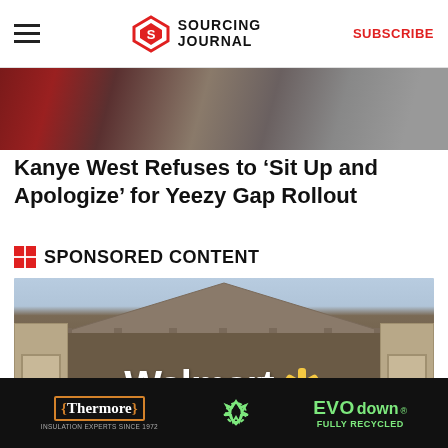Sourcing Journal | SUBSCRIBE
[Figure (photo): Top image strip showing dark reddish tones, appears to be fashion/apparel related]
Kanye West Refuses to ‘Sit Up and Apologize’ for Yeezy Gap Rollout
SPONSORED CONTENT
[Figure (photo): Walmart exterior sign on a stone monument with a tan building facade and shrubbery in foreground. The Walmart logo with spark emblem is visible in white and yellow.]
[Figure (logo): Thermore EVO down advertisement banner - black background with orange Thermore logo, green recycling icon, and EVO down branding]